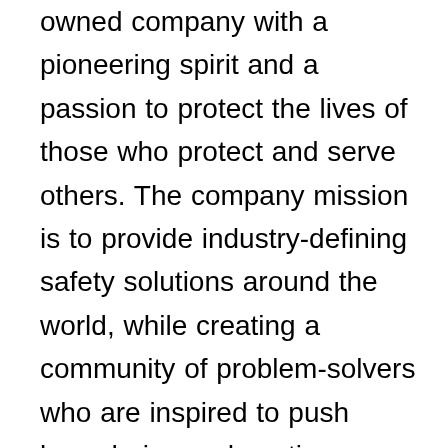owned company with a pioneering spirit and a passion to protect the lives of those who protect and serve others. The company mission is to provide industry-defining safety solutions around the world, while creating a community of problem-solvers who are inspired to push boundaries and continue our legacy of delivering ground-breaking innovation. As a global leader in the emergency warning industry, Whelen has been trusted to perform since 1952, when George Whelen III invented the first rotating aviation beacon. Whelen now encompasses two state-of-the-art manufacturing facilities in Connecticut and New Hampshire with over 750,000 square feet of engineering and manufacturing space and the